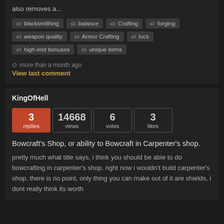also removes a...
blacksmithing
balance
Crafting
forging
weapon quality
Armor Crafting
luck
high-end bonuses
unique items
more than a month ago
View last comment
KingOfHell
| replies | views | votes | likes |
| --- | --- | --- | --- |
| 3 | 14668 | 6 | 3 |
Bowcraft's Shop, or ability to Bowcraft in Carpenter's shop.
pretty much what title says, i think you should be able to do bowcrafting in carpenter's shop. right now i wouldn't build carpenter's shop, there is no point, only thing you can make out of it are shields, i dont really think its worth